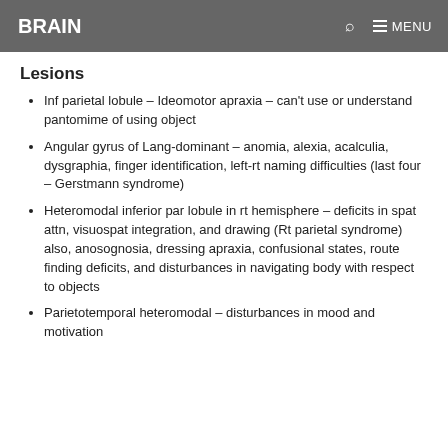BRAIN   MENU
Lesions
Inf parietal lobule – Ideomotor apraxia – can't use or understand pantomime of using object
Angular gyrus of Lang-dominant – anomia, alexia, acalculia, dysgraphia, finger identification, left-rt naming difficulties (last four – Gerstmann syndrome)
Heteromodal inferior par lobule in rt hemisphere – deficits in spat attn, visuospat integration, and drawing (Rt parietal syndrome) also, anosognosia, dressing apraxia, confusional states, route finding deficits, and disturbances in navigating body with respect to objects
Parietotemporal heteromodal – disturbances in mood and motivation